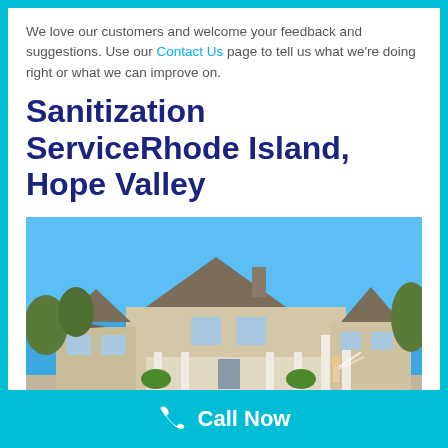We love our customers and welcome your feedback and suggestions. Use our Contact Us page to tell us what we're doing right or what we can improve on.
Sanitization ServiceRhode Island, Hope Valley
[Figure (photo): Large residential home being pressure washed on a sunny day with clear blue sky. A person is seen spraying the exterior of the house. Trees visible on the left and right sides.]
Call Now